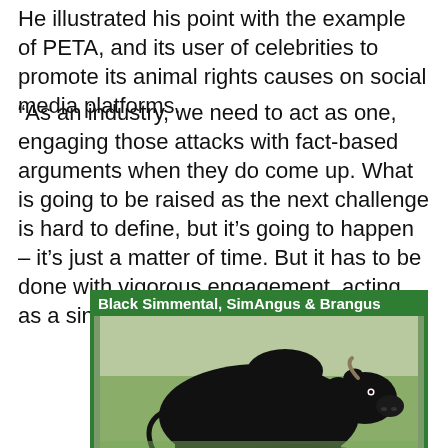He illustrated his point with the example of PETA, and its user of celebrities to promote its animal rights causes on social media platforms.
“As an industry, we need to act as one, engaging those attacks with fact-based arguments when they do come up. What is going to be raised as the next challenge is hard to define, but it’s going to happen – it’s just a matter of time. But it has to be done with vigorous engagement, acting as a single industry voice.”
[Figure (photo): A large black bull standing on green grass, labeled 'Black Simmental, SimAngus & Brangus' with a green border frame]